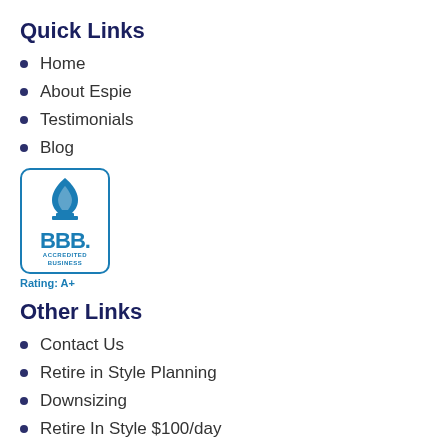Quick Links
Home
About Espie
Testimonials
Blog
[Figure (logo): BBB Accredited Business, Rating: A+ logo badge with flame symbol in blue]
Other Links
Contact Us
Retire in Style Planning
Downsizing
Retire In Style $100/day